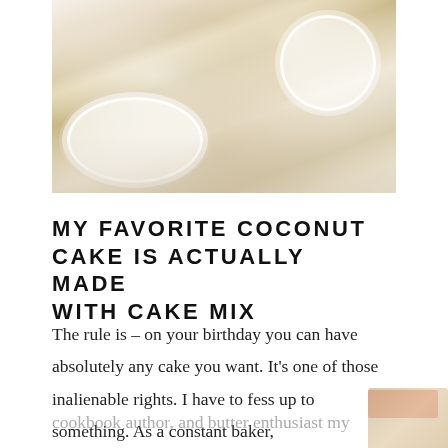[Figure (photo): A slice of white coconut cake with cream frosting and toasted coconut on top, served on a white doily-laced plate]
MY FAVORITE COCONUT CAKE IS ACTUALLY MADE WITH CAKE MIX
The rule is – on your birthday you can have absolutely any cake you want.  It's one of those inalienable rights.  I have to fess up to something.  As a constant baker,
cookbook author, and butter enthusiast my favorite birthday cake